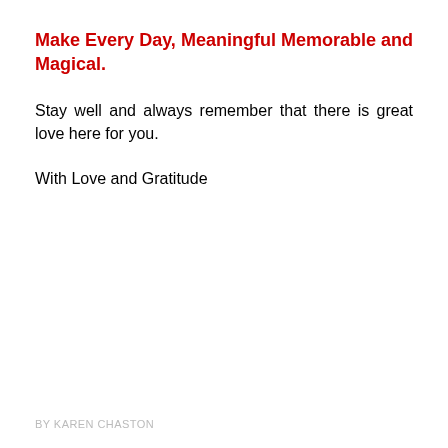Make Every Day, Meaningful Memorable and Magical.
Stay well and always remember that there is great love here for you.
With Love and Gratitude
BY KAREN CHASTON